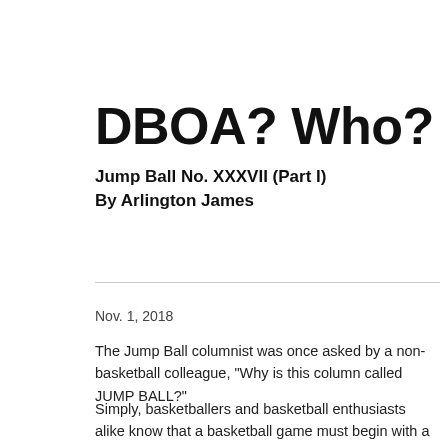DBOA? Who?
Jump Ball No. XXXVII (Part I)
By Arlington James
Nov. 1, 2018
The Jump Ball columnist was once asked by a non-basketball colleague, "Why is this column called JUMP BALL?"
Simply, basketballers and basketball enthusiasts alike know that a basketball game must begin with a jump ball. And a referee administers that opening "jumper".